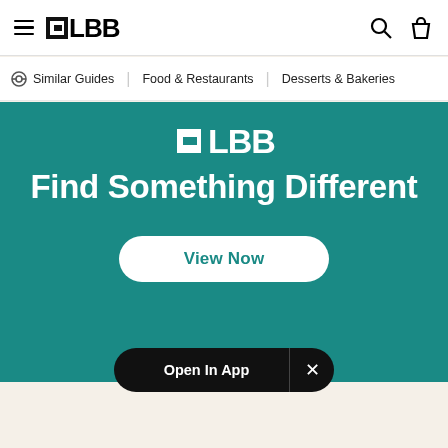LBB navigation bar with hamburger menu, LBB logo, search and bag icons
Similar Guides   Food & Restaurants   Desserts & Bakeries
[Figure (screenshot): LBB promotional banner with teal background, LBB logo in white, heading 'Find Something Different' and a 'View Now' button]
Open In App  ×